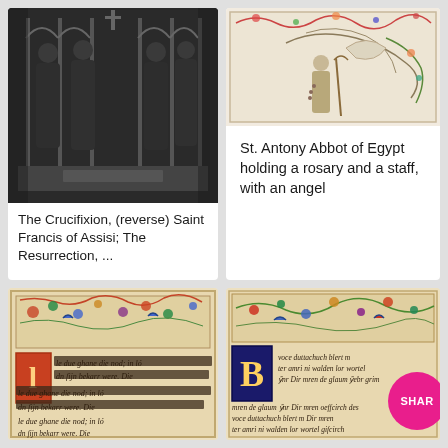[Figure (photo): Black and white photo of a religious altarpiece showing robed figures in Gothic architectural niches]
The Crucifixion, (reverse) Saint Francis of Assisi; The Resurrection, ...
[Figure (illustration): Illuminated manuscript detail showing St. Antony Abbot with decorative floral border]
St. Antony Abbot of Egypt holding a rosary and a staff, with an angel
[Figure (illustration): Illuminated manuscript page with decorated border and Gothic script text]
[Figure (illustration): Illuminated manuscript page with colorful floral border and Gothic text, partially overlaid with a SHARE button]